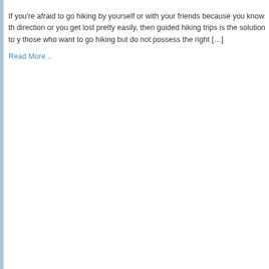If you're afraid to go hiking by yourself or with your friends because you know the direction or you get lost pretty easily, then guided hiking trips is the solution to those who want to go hiking but do not possess the right […]
Read More...